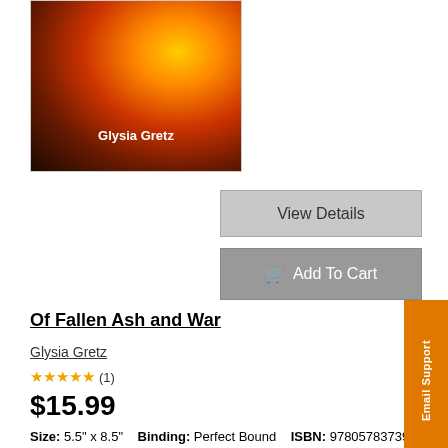[Figure (illustration): Book cover for 'Of Fallen Ash and War' by Glysia Gretz, showing a dark fiery background with orange and yellow flames, author name 'Glysia Gretz' in white text at the bottom center.]
View Details
Add To Cart
Of Fallen Ash and War
Glysia Gretz
★★★★★ (1)
$15.99
Size: 5.5" x 8.5"
Binding: Perfect Bound
ISBN: 9780578373935
Unable to remember anything prior to meeting Milo five years ago, Ash is forced to flee from the only home she knows as the fire of the Razen army closes in. Together, Ash and Milo head to the
Email Support